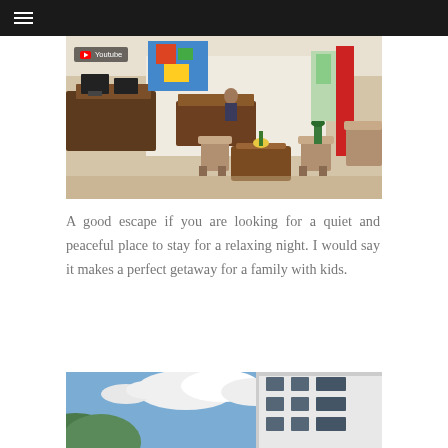[Figure (other): Navigation bar with hamburger menu icon on dark background]
[Figure (photo): Hotel lobby interior with wooden furniture, reception desk, seating area, and a person at the counter. A YouTube badge overlay is visible in the top-left of the image.]
A good escape if you are looking for a quiet and peaceful place to stay for a relaxing night. I would say it makes a perfect getaway for a family with kids.
[Figure (photo): Exterior of a multi-story hotel building with white facade, windows, and a partly cloudy blue sky with green hills visible.]